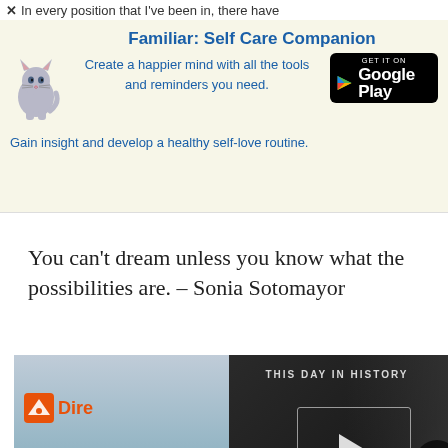In every position that I've been in, there have
[Figure (screenshot): Advertisement banner for 'Familiar: Self Care Companion' app with cat illustration and Google Play button. Text: 'Create a happier mind with all the tools and reminders you need. Gain insight and develop a healthy self-love routine.']
You can't dream unless you know what the possibilities are. – Sonia Sotomayor
[Figure (screenshot): Two overlapping media panels: left shows a DirecTV advertisement with orange background and text 'ANY ANY ANYO'; right shows a video player with 'THIS DAY IN HISTORY' label, play button overlay, August label, mute icon, progress bar, and fullscreen button.]